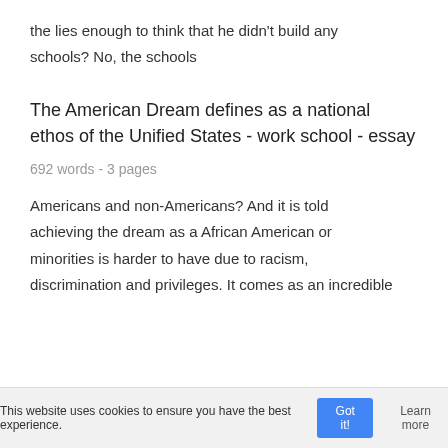the lies enough to think that he didn't build any schools? No, the schools
The American Dream defines as a national ethos of the Unified States - work school - essay
692 words - 3 pages
Americans and non-Americans? And it is told achieving the dream as a African American or minorities is harder to have due to racism, discrimination and privileges. It comes as an incredible
This website uses cookies to ensure you have the best experience. Got it! Learn more